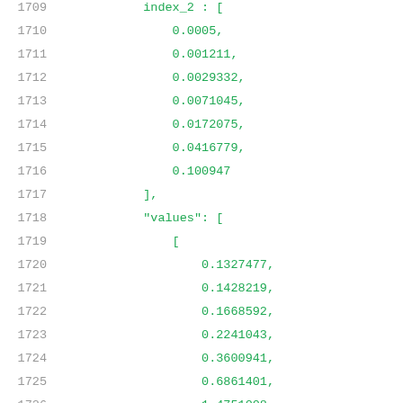1709    index_2 : [
1710        0.0005,
1711        0.001211,
1712        0.0029332,
1713        0.0071045,
1714        0.0172075,
1715        0.0416779,
1716        0.100947
1717    ],
1718    "values": [
1719        [
1720            0.1327477,
1721            0.1428219,
1722            0.1668592,
1723            0.2241043,
1724            0.3600941,
1725            0.6861401,
1726            1.4751008
1727        ],
1728        [
1729            0.1316217,
1730            0.1420914,